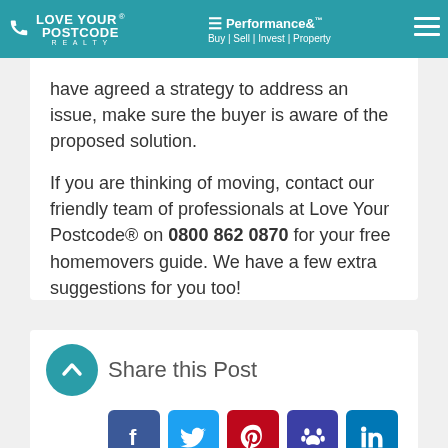LOVE YOUR POSTCODE REALTY | Performance& Buy | Sell | Invest | Property
have agreed a strategy to address an issue, make sure the buyer is aware of the proposed solution.

If you are thinking of moving, contact our friendly team of professionals at Love Your Postcode® on 0800 862 0870 for your free homemovers guide. We have a few extra suggestions for you too!
Share this Post